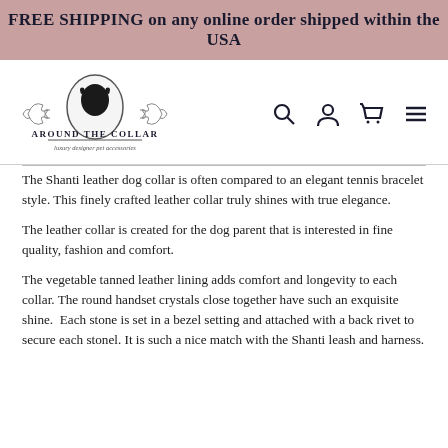FREE SHIPPING on any online order shipped within the USA
[Figure (logo): Around The Collar logo with dog silhouette and decorative scrollwork, tagline: luxury designer pet accessories]
The Shanti leather dog collar is often compared to an elegant tennis bracelet style. This finely crafted leather collar truly shines with true elegance.
The leather collar is created for the dog parent that is interested in fine quality, fashion and comfort.
The vegetable tanned leather lining adds comfort and longevity to each collar. The round handset crystals close together have such an exquisite shine.  Each stone is set in a bezel setting and attached with a back rivet to secure each stonel. It is such a nice match with the Shanti leash and harness.